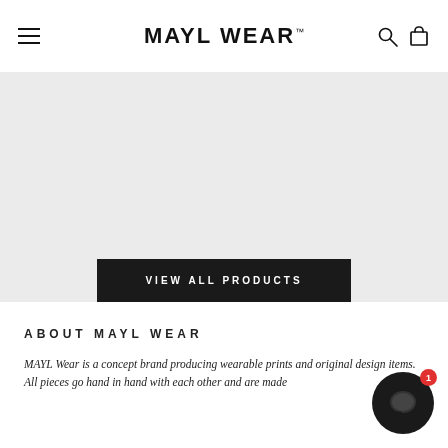MAYL WEAR
[Figure (screenshot): Hero section with light gray background and a dark 'VIEW ALL PRODUCTS' button]
VIEW ALL PRODUCTS
ABOUT MAYL WEAR
MAYL Wear is a concept brand producing wearable prints and original design items. All pieces go hand in hand with each other and are made